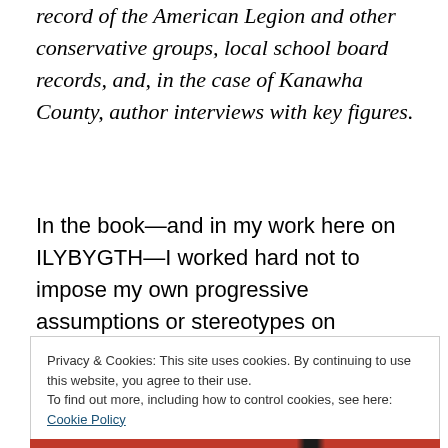record of the American Legion and other conservative groups, local school board records, and, in the case of Kanawha County, author interviews with key figures.
In the book—and in my work here on ILYBYGTH—I worked hard not to impose my own progressive assumptions or stereotypes on conservative activists. I did not want to write a book simply damning the work of
Privacy & Cookies: This site uses cookies. By continuing to use this website, you agree to their use.
To find out more, including how to control cookies, see here: Cookie Policy
Close and accept